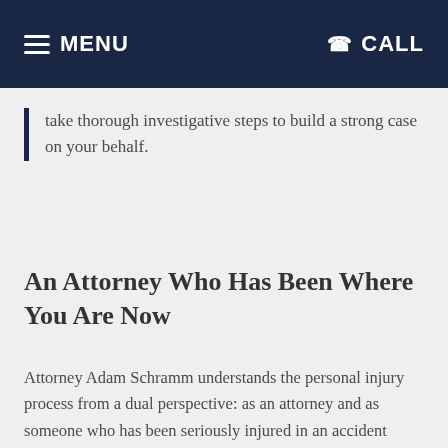MENU | CALL
take thorough investigative steps to build a strong case on your behalf.
An Attorney Who Has Been Where You Are Now
Attorney Adam Schramm understands the personal injury process from a dual perspective: as an attorney and as someone who has been seriously injured in an accident himself.
Before law school, Adam was involved in a serious automobile accident. He suffered a traumatic brain injury (TBI) and numerous broken bones. The accident changed his life. To learn more, visit his attorney